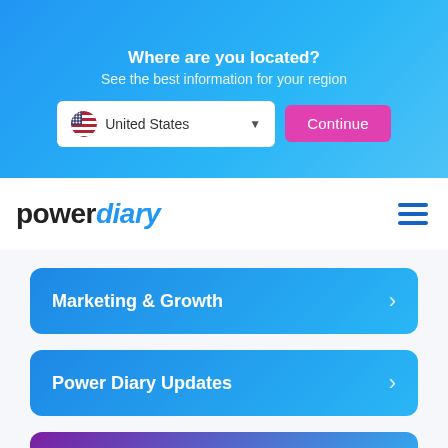Where are you located?
See the best information for your region
[Figure (screenshot): Location selector with United States dropdown and Continue button]
[Figure (logo): Power Diary logo with hamburger menu]
Marketing & Growth
Power Diary Updates
Practice Management Tips